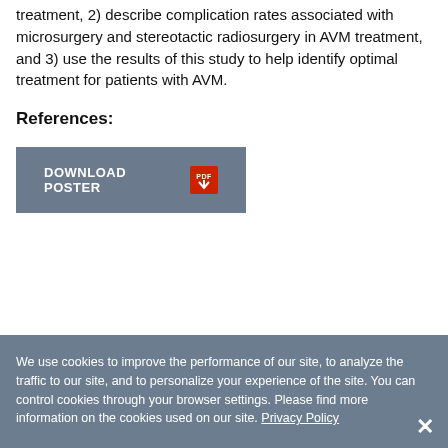treatment, 2) describe complication rates associated with microsurgery and stereotactic radiosurgery in AVM treatment, and 3) use the results of this study to help identify optimal treatment for patients with AVM.
References:
[Figure (other): Download Poster button with PDF icon]
We use cookies to improve the performance of our site, to analyze the traffic to our site, and to personalize your experience of the site. You can control cookies through your browser settings. Please find more information on the cookies used on our site. Privacy Policy